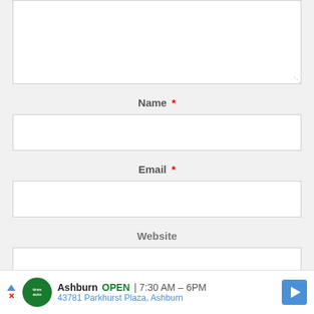[Figure (screenshot): Textarea input box (comment/message field), partially visible at top of page]
Name *
[Figure (screenshot): Name input field (empty text box)]
Email *
[Figure (screenshot): Email input field (empty text box)]
Website
[Figure (screenshot): Website input field (empty text box, partially visible)]
[Figure (screenshot): Advertisement banner: Ashburn OPEN 7:30AM-6PM, 43781 Parkhurst Plaza, Ashburn. Tires auto logo.]